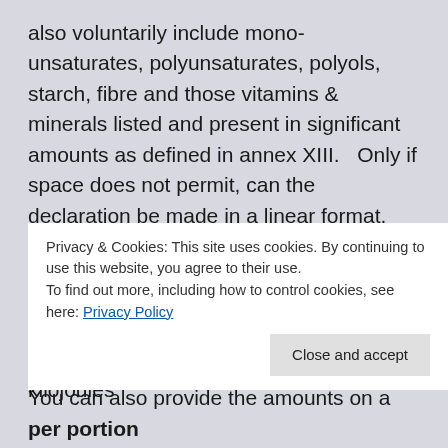also voluntarily include mono-unsaturates, polyunsaturates, polyols, starch, fibre and those vitamins & minerals listed and present in significant amounts as defined in annex XIII.   Only if space does not permit, can the declaration be made in a linear format.
The amounts must be expressed as sold per 100g or 100 ml in the order & using the units specified in annex XV, whilst energy values must be provided in kilojoules (
You can also provide the amounts on a per portion